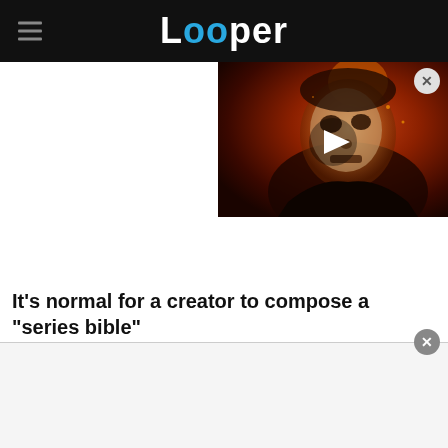Looper
[Figure (photo): Video thumbnail showing a horror movie character (Michael Myers from Halloween) with a mask, against an orange-red fiery background, with a white play button triangle overlay]
It's normal for a creator to compose a "series bible"